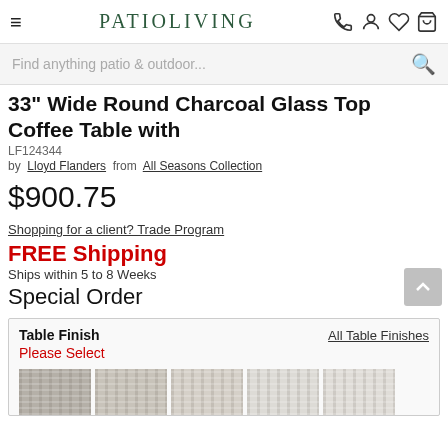PATIOLIVING
33" Wide Round Charcoal Glass Top Coffee Table with
LF124344
by Lloyd Flanders from All Seasons Collection
$900.75
Shopping for a client? Trade Program
FREE Shipping
Ships within 5 to 8 Weeks
Special Order
| Table Finish | All Table Finishes |
| --- | --- |
| Please Select |  |